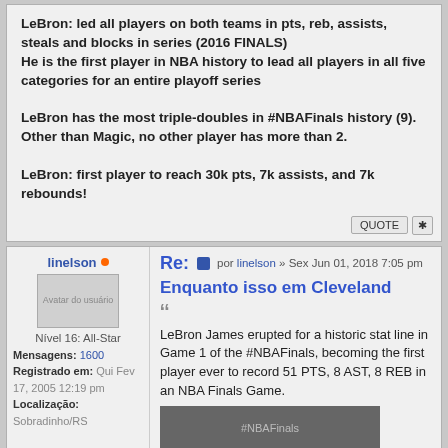LeBron: led all players on both teams in pts, reb, assists, steals and blocks in series (2016 FINALS)
He is the first player in NBA history to lead all players in all five categories for an entire playoff series

LeBron has the most triple-doubles in #NBAFinals history (9). Other than Magic, no other player has more than 2.

LeBron: first player to reach 30k pts, 7k assists, and 7k rebounds!
Re: por linelson » Sex Jun 01, 2018 7:05 pm
Enquanto isso em Cleveland
LeBron James erupted for a historic stat line in Game 1 of the #NBAFinals, becoming the first player ever to record 51 PTS, 8 AST, 8 REB in an NBA Finals Game.
[Figure (photo): Bottom image placeholder - photo related to NBA Finals]